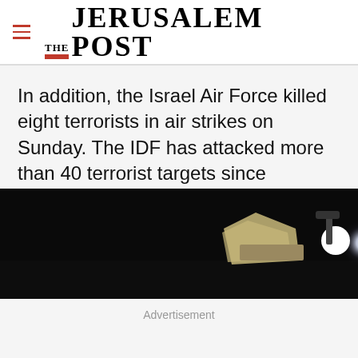THE JERUSALEM POST
In addition, the Israel Air Force killed eight terrorists in air strikes on Sunday. The IDF has attacked more than 40 terrorist targets since midnight on Sunday.
[Figure (photo): Dark nighttime photograph showing what appears to be military or security equipment with a bright light/spotlight visible on the right side against a black background.]
Advertisement